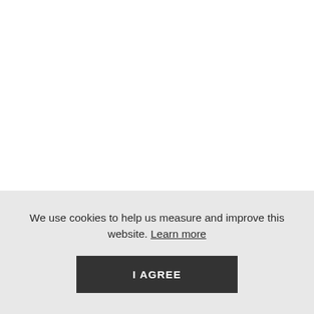We use cookies to help us measure and improve this website. Learn more
I AGREE